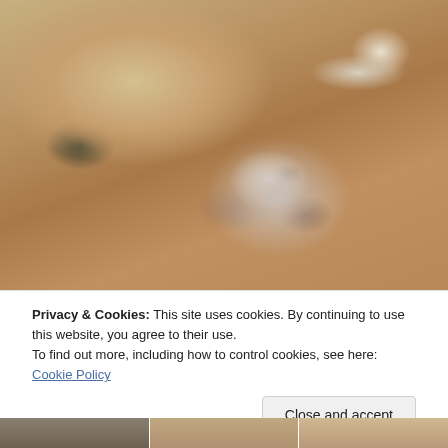[Figure (photo): A food photography scene on a wooden cutting board and table. A wedge of hard cheese (like Parmesan) with a knife on a wooden board, a glass jar of dark brown jam or chutney with its lid off, and a white plate with a piece of bread/cracker topped with cheese and jam, with a spoon resting on the plate.]
Privacy & Cookies: This site uses cookies. By continuing to use this website, you agree to their use.
To find out more, including how to control cookies, see here: Cookie Policy
Close and accept
[Figure (photo): Bottom strip showing partial thumbnail images of food photos]